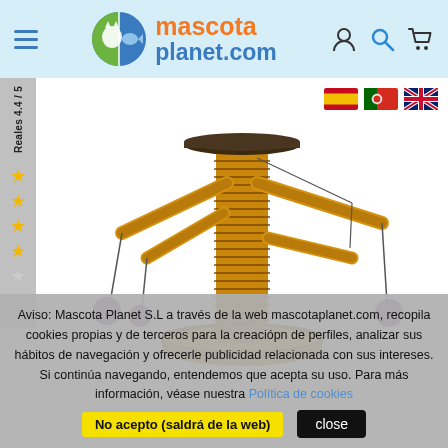mascota planet.com
[Figure (photo): Cat scratching post toy: a wooden spool-shaped post with a flat circular top and base, wrapped in rope, with 4 diagonal wooden arms each ending in a hanging purple ball toy.]
Aviso: Mascota Planet S.L a través de la web mascotaplanet.com, recopila cookies propias y de terceros para la creaciópn de perfiles, analizar sus hábitos de navegación y ofrecerle publicidad relacionada con sus intereses. Si continúa navegando, entendemos que acepta su uso. Para más información, véase nuestra Política de cookies
No acepto (saldrá de la web)